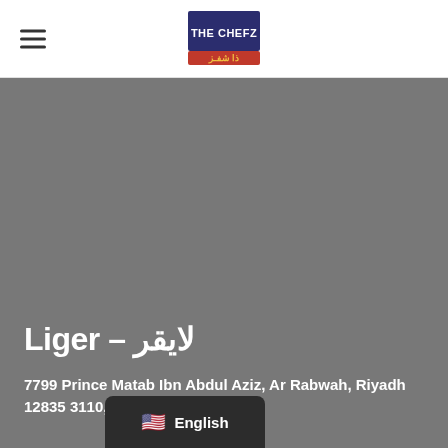THE CHEFZ (logo)
[Figure (photo): Gray hero/banner image area for restaurant listing page]
Liger – لايقر
7799 Prince Matab Ibn Abdul Aziz, Ar Rabwah, Riyadh 12835 3110, Saudi Arabia
English